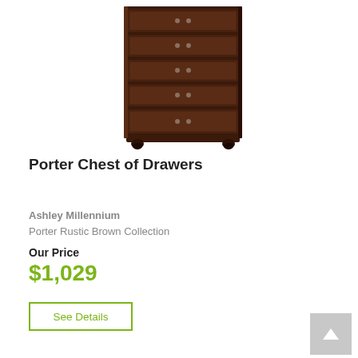[Figure (photo): A tall wooden Porter Chest of Drawers in rustic brown finish with multiple drawers and decorative round feet, shown on white background]
Porter Chest of Drawers
Ashley Millennium
Porter Rustic Brown Collection
Our Price
$1,029
See Details